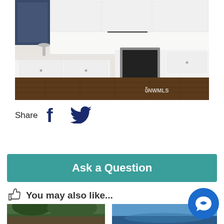[Figure (photo): Kitchen photo showing white cabinets, white countertops, stainless steel oven/range, dark hardwood floors, and a window. NWMLS watermark visible.]
Share
[Figure (logo): Facebook icon (dark navy blue)]
[Figure (logo): Twitter bird icon (dark navy blue)]
[Figure (other): Ask a Question button - teal/green background with white bold text]
You may also like...
[Figure (photo): Thumbnail photo on left - trees/house exterior]
[Figure (photo): Thumbnail photo on right - blue sky/water]
[Figure (other): Blue circular chat/message button in bottom right corner]